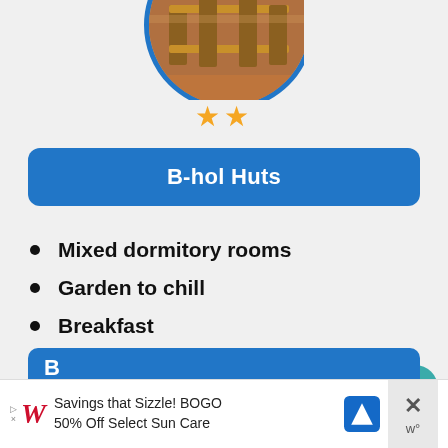[Figure (photo): Circular cropped photo of a dormitory room with wooden bunk beds, shown partially at top of card, inside a blue circular border]
★★
B-hol Huts
Mixed dormitory rooms
Garden to chill
Breakfast
[Figure (screenshot): Walgreens advertisement banner: Savings that Sizzle! BOGO 50% Off Select Sun Care]